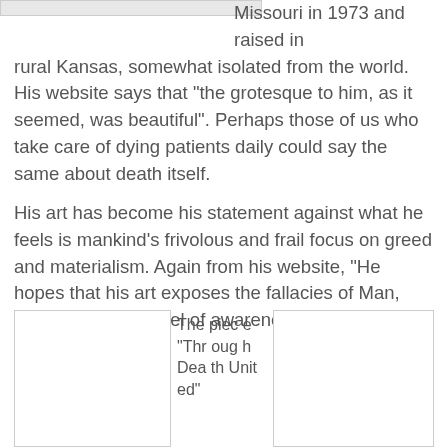[Figure (photo): Partial image at top of page, clipped]
Missouri in 1973 and raised in rural Kansas, somewhat isolated from the world. His website says that "the grotesque to him, as it seemed, was beautiful". Perhaps those of us who take care of dying patients daily could say the same about death itself.
His art has become his statement against what he feels is mankind's frivolous and frail focus on greed and materialism. Again from his website, "He hopes that his art exposes the fallacies of Man, unveiling a new level of awareness to the viewer".
[Figure (photo): Left image box, partially visible]
The piece "Through Death United"
[Figure (photo): Right image box, partially visible]